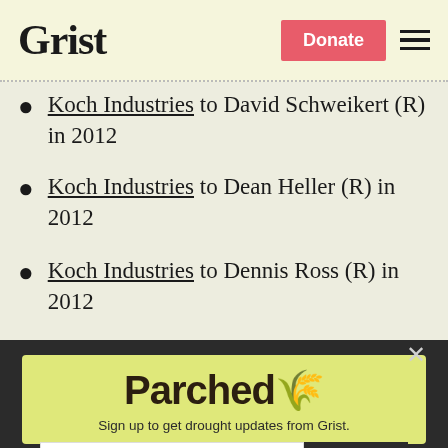Grist | Donate
Koch Industries to David Schweikert (R) in 2012
Koch Industries to Dean Heller (R) in 2012
Koch Industries to Dennis Ross (R) in 2012
[Figure (screenshot): Parchea newsletter signup modal overlay with email input field and SIGN UP button on a lime-green background]
Sign up to get drought updates from Grist.
No thanks